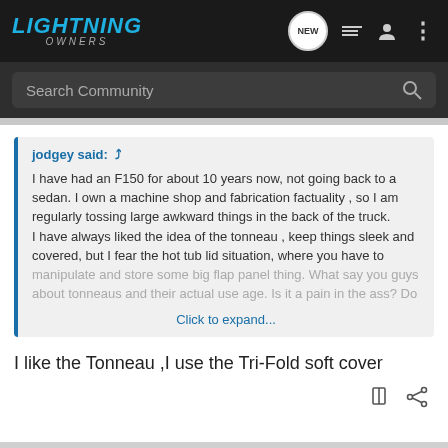[Figure (screenshot): Lightning Owners community forum navigation bar with logo, search bar, and icons]
jodgey said: ↑ I have had an F150 for about 10 years now, not going back to a sedan. I own a machine shop and fabrication factuality , so I am regularly tossing large awkward things in the back of the truck. I have always liked the idea of the tonneau , keep things sleek and covered, but I fear the hot tub lid situation, where you have to manipulate and store some big flap panel thing. What say you guys about tonneaus and their actual use age. Is it a pain in the ass? Do Click to expand...
I like the Tonneau ,I use the Tri-Fold soft cover